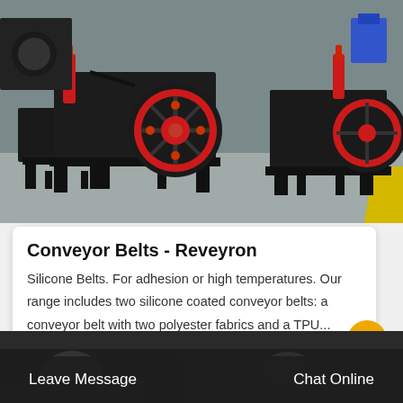[Figure (photo): Industrial machinery/crusher equipment with large black and red flywheel wheels on metal frames, in a factory floor setting with grey flooring and yellow stripe visible at right edge]
Conveyor Belts - Reveyron
Silicone Belts. For adhesion or high temperatures. Our range includes two silicone coated conveyor belts: a conveyor belt with two polyester fabrics and a TPU...
[Figure (photo): Chat icon with broken image placeholder and 'Chat' label]
Leave Message    Chat Online